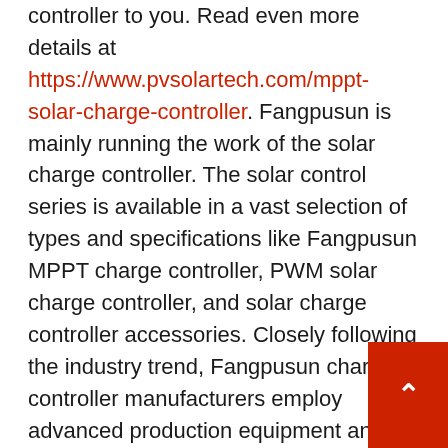controller to you. Read even more details at https://www.pvsolartech.com/mppt-solar-charge-controller. Fangpusun is mainly running the work of the solar charge controller. The solar control series is available in a vast selection of types and specifications like Fangpusun MPPT charge controller, PWM solar charge controller, and solar charge controller accessories. Closely following the industry trend, Fangpusun charge controller manufacturers employ advanced production equipment and production technology to produce solar controllers. The item receives favors from the majority of customers for the high quality and favorable price.
Are residential solar panels worth it? Estimate residential solar panel cost. Solar panels aren't cheap; with installation, an average residential